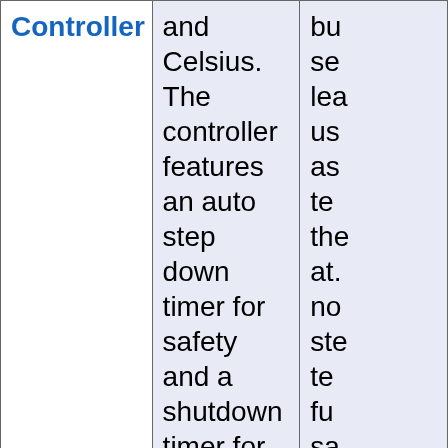| Controller | and Celsius. The controller features an auto step down timer for safety and a shutdown timer for convenience. | bu se lea us as te the at. no ste te fu sa |
|  |  | Ma |